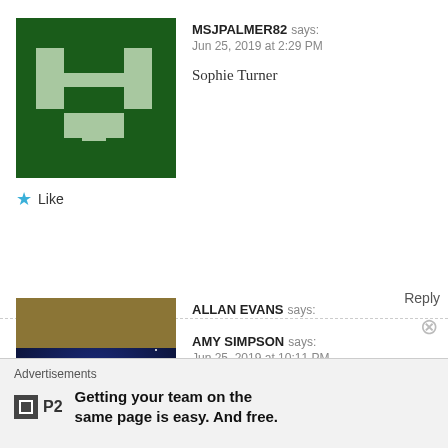[Figure (illustration): Green pixel art avatar for MSJPALMER82]
MSJPALMER82 says:
Jun 25, 2019 at 2:29 PM

Sophie Turner
★ Like
Reply
[Figure (photo): Photo of a building lit at night with dark blue sky for AMY SIMPSON]
AMY SIMPSON says:
Jun 25, 2019 at 10:11 PM

Sophie turner
★ Like
Reply
[Figure (photo): Partial avatar with olive/gold color for ALLAN EVANS]
ALLAN EVANS says:
Advertisements
Getting your team on the same page is easy. And free.